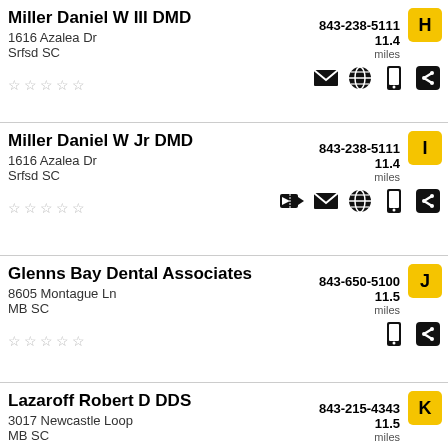Miller Daniel W III DMD
1616 Azalea Dr
Srfsd SC
843-238-5111
11.4 miles
Miller Daniel W Jr DMD
1616 Azalea Dr
Srfsd SC
843-238-5111
11.4 miles
Glenns Bay Dental Associates
8605 Montague Ln
MB SC
843-650-5100
11.5 miles
Lazaroff Robert D DDS
3017 Newcastle Loop
MB SC
843-215-4343
11.5 miles